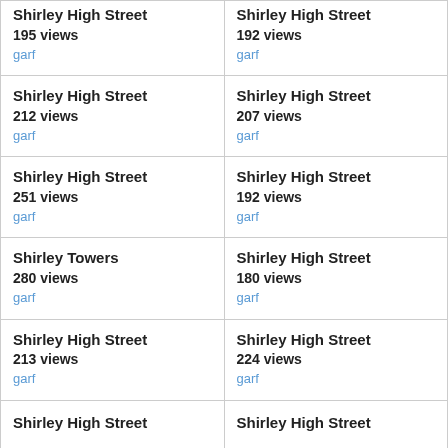Shirley High Street
195 views
garf
Shirley High Street
192 views
garf
Shirley High Street
212 views
garf
Shirley High Street
207 views
garf
Shirley High Street
251 views
garf
Shirley High Street
192 views
garf
Shirley Towers
280 views
garf
Shirley High Street
180 views
garf
Shirley High Street
213 views
garf
Shirley High Street
224 views
garf
Shirley High Street
Shirley High Street